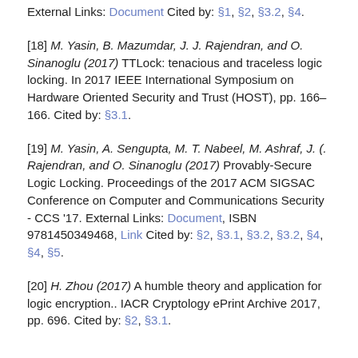External Links: Document Cited by: §1, §2, §3.2, §4.
[18] M. Yasin, B. Mazumdar, J. J. Rajendran, and O. Sinanoglu (2017) TTLock: tenacious and traceless logic locking. In 2017 IEEE International Symposium on Hardware Oriented Security and Trust (HOST), pp. 166–166. Cited by: §3.1.
[19] M. Yasin, A. Sengupta, M. T. Nabeel, M. Ashraf, J. (. Rajendran, and O. Sinanoglu (2017) Provably-Secure Logic Locking. Proceedings of the 2017 ACM SIGSAC Conference on Computer and Communications Security - CCS '17. External Links: Document, ISBN 9781450349468, Link Cited by: §2, §3.1, §3.2, §3.2, §4, §4, §5.
[20] H. Zhou (2017) A humble theory and application for logic encryption.. IACR Cryptology ePrint Archive 2017, pp. 696. Cited by: §2, §3.1.